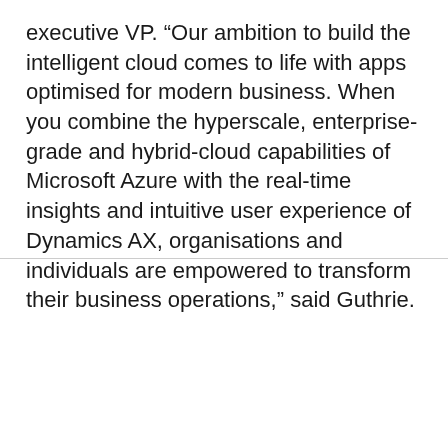executive VP. “Our ambition to build the intelligent cloud comes to life with apps optimised for modern business. When you combine the hyperscale, enterprise-grade and hybrid-cloud capabilities of Microsoft Azure with the real-time insights and intuitive user experience of Dynamics AX, organisations and individuals are empowered to transform their business operations,” said Guthrie.